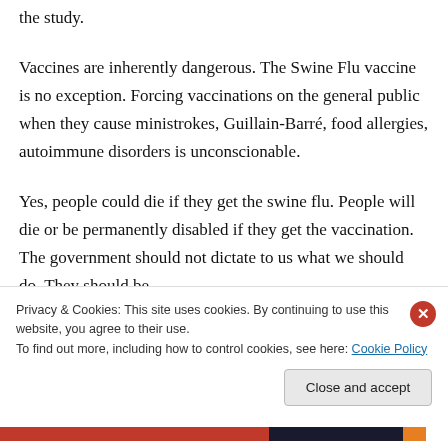the study.
Vaccines are inherently dangerous. The Swine Flu vaccine is no exception. Forcing vaccinations on the general public when they cause ministrokes, Guillain-Barré, food allergies, autoimmune disorders is unconscionable.
Yes, people could die if they get the swine flu. People will die or be permanently disabled if they get the vaccination. The government should not dictate to us what we should do. They should be
Privacy & Cookies: This site uses cookies. By continuing to use this website, you agree to their use.
To find out more, including how to control cookies, see here: Cookie Policy
Close and accept